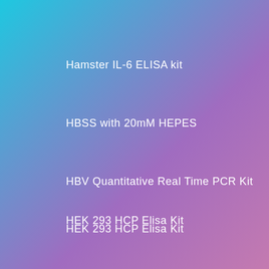Hamster IL-6 ELISA kit
HBSS with 20mM HEPES
HBV Quantitative Real Time PCR Kit
HEK 293 HCP Elisa Kit
Hemo Trial Kit 5 ml Hemoglobind
HemogloBind, 15ml
[Figure (other): Cyan scroll-to-top button with upward chevron arrow, positioned bottom right]